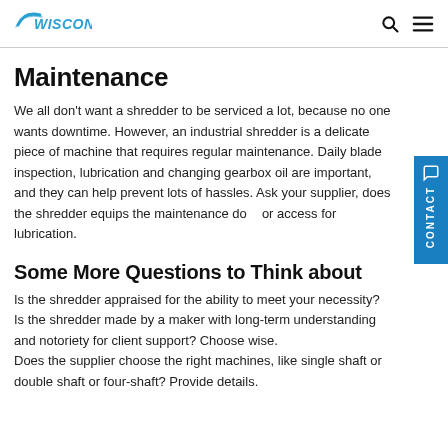WISCON [logo with search and menu icons]
Maintenance
We all don't want a shredder to be serviced a lot, because no one wants downtime. However, an industrial shredder is a delicate piece of machine that requires regular maintenance. Daily blade inspection, lubrication and changing gearbox oil are important, and they can help prevent lots of hassles. Ask your supplier, does the shredder equips the maintenance door or access for lubrication.
Some More Questions to Think about
Is the shredder appraised for the ability to meet your necessity?
Is the shredder made by a maker with long-term understanding and notoriety for client support? Choose wise.
Does the supplier choose the right machines, like single shaft or double shaft or four-shaft? Provide details.